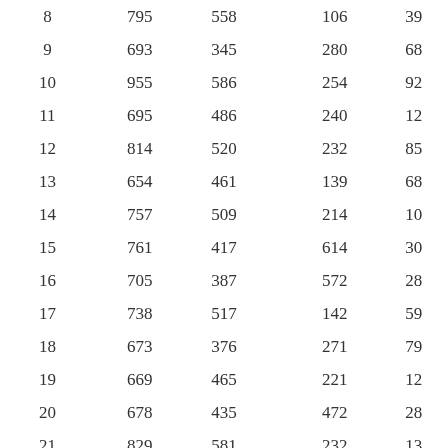| 8 | 795 | 558 |  | 106 | 39 |
| 9 | 693 | 345 |  | 280 | 68 |
| 10 | 955 | 586 |  | 254 | 92 |
| 11 | 695 | 486 |  | 240 | 12 |
| 12 | 814 | 520 |  | 232 | 85 |
| 13 | 654 | 461 |  | 139 | 68 |
| 14 | 757 | 509 |  | 214 | 10 |
| 15 | 761 | 417 |  | 614 | 30 |
| 16 | 705 | 387 |  | 572 | 28 |
| 17 | 738 | 517 |  | 142 | 59 |
| 18 | 673 | 376 |  | 271 | 79 |
| 19 | 669 | 465 |  | 221 | 12 |
| 20 | 678 | 435 |  | 472 | 28 |
| 21 | 829 | 581 |  | 232 | 13 |
| 22 | 874 | 556 |  | 231 | 10 |